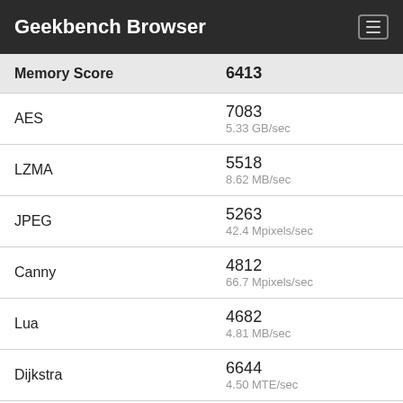Geekbench Browser
| Benchmark | Score |
| --- | --- |
| Memory Score | 6413 |
| AES | 7083
5.33 GB/sec |
| LZMA | 5518
8.62 MB/sec |
| JPEG | 5263
42.4 Mpixels/sec |
| Canny | 4812
66.7 Mpixels/sec |
| Lua | 4682
4.81 MB/sec |
| Dijkstra | 6644
4.50 MTE/sec |
| SQLite | 4639
128.6 Krows/sec |
| HTML5 Parse | 4322 |